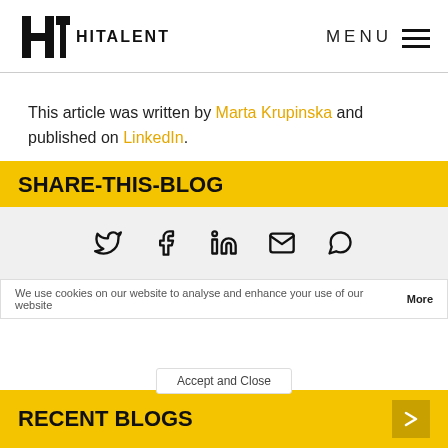HiTalent | MENU
This article was written by Marta Krupinska and published on LinkedIn.
SHARE-THIS-BLOG
[Figure (infographic): Social share icons row: Twitter, Facebook, LinkedIn, Email, WhatsApp]
We use cookies on our website to analyse and enhance your use of our website More
RECENT BLOGS